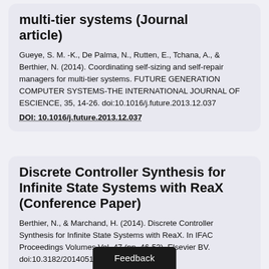multi-tier systems (Journal article)
Gueye, S. M. -K., De Palma, N., Rutten, E., Tchana, A., & Berthier, N. (2014). Coordinating self-sizing and self-repair managers for multi-tier systems. FUTURE GENERATION COMPUTER SYSTEMS-THE INTERNATIONAL JOURNAL OF ESCIENCE, 35, 14-26. doi:10.1016/j.future.2013.12.037
DOI: 10.1016/j.future.2013.12.037
Discrete Controller Synthesis for Infinite State Systems with ReaX (Conference Paper)
Berthier, N., & Marchand, H. (2014). Discrete Controller Synthesis for Infinite State Systems with ReaX. In IFAC Proceedings Volumes Vol. 47 (pp. 46-53). Elsevier BV. doi:10.3182/20140514-3-fr-4046.00099
DOI: 10.3182/20140514-3-fr-4046.00099